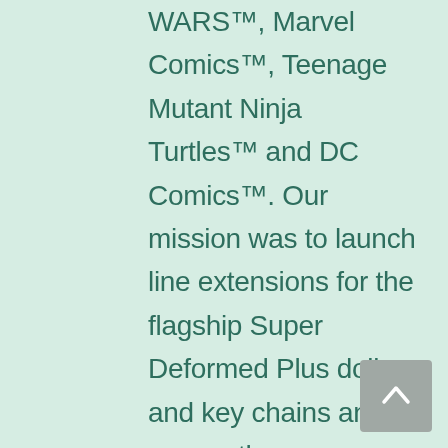WARS™, Marvel Comics™, Teenage Mutant Ninja Turtles™ and DC Comics™. Our mission was to launch line extensions for the flagship Super Deformed Plus dolls and key chains and many other collectibles. It was a cool assignment with an interesting strategy. Comic sold only to retailers, so our efforts focused on encouraging collectors to demand new products from sellers, while keeping them interested in what was in the pipeline. Our work developing symbiotic advertising/editorial packages with online retailers and fan sites allowed Comic Images' Super
[Figure (other): A scroll-to-top button (upward chevron/arrow on grey background)]